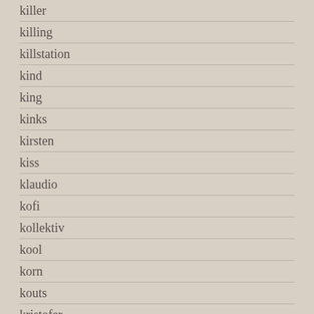killer
killing
killstation
kind
king
kinks
kirsten
kiss
klaudio
kofi
kollektiv
kool
korn
kouts
kristofer
krsna